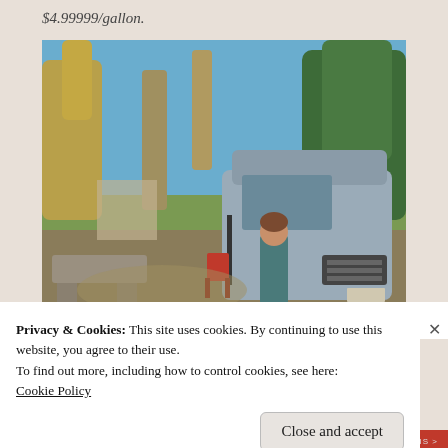$4.99999/gallon.
[Figure (photo): A woman standing in front of a silver Ford Transit van/motorhome parked in a campground with trees in the background. A stone bench is visible to the left and a red folding chair is in the background. Clear blue sky above.]
Privacy & Cookies: This site uses cookies. By continuing to use this website, you agree to their use.
To find out more, including how to control cookies, see here:
Cookie Policy
Close and accept